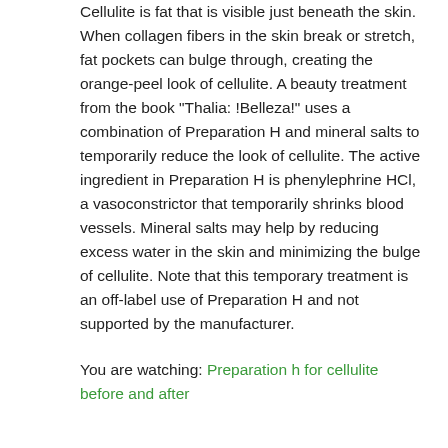Cellulite is fat that is visible just beneath the skin. When collagen fibers in the skin break or stretch, fat pockets can bulge through, creating the orange-peel look of cellulite. A beauty treatment from the book "Thalia: !Belleza!" uses a combination of Preparation H and mineral salts to temporarily reduce the look of cellulite. The active ingredient in Preparation H is phenylephrine HCl, a vasoconstrictor that temporarily shrinks blood vessels. Mineral salts may help by reducing excess water in the skin and minimizing the bulge of cellulite. Note that this temporary treatment is an off-label use of Preparation H and not supported by the manufacturer.
You are watching: Preparation h for cellulite before and after